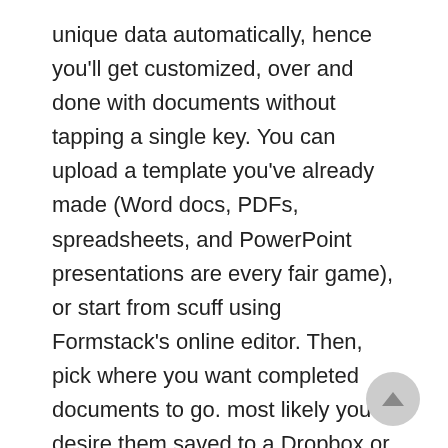unique data automatically, hence you'll get customized, over and done with documents without tapping a single key. You can upload a template you've already made (Word docs, PDFs, spreadsheets, and PowerPoint presentations are every fair game), or start from scuff using Formstack's online editor. Then, pick where you want completed documents to go. most likely you desire them saved to a Dropbox or Google drive folder, emailed to you, or sent to a tool where you can collective signatures. Finally, pick your data source. You could manually import data from a spreadsheetbut that sort of defeats the purpose. Instead, use Zapier to set up an automated workflow. Your document templates will be automatically populated subsequently data from marginal applike a survey or eCommerce tool. For example, if you use PayPal to manage your online shop, you could use Zapier to create a custom receipt for each customer. Or,